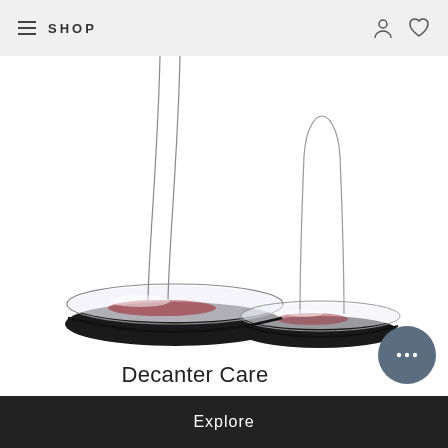≡ SHOP
[Figure (photo): Two glass wine decanters with elongated necks and flat oval bases, photographed against a white background. The decanters have a dramatic, artistic shape with long thin necks curving upward. A hint of red wine is visible inside their bases.]
Decanter Care
Explore